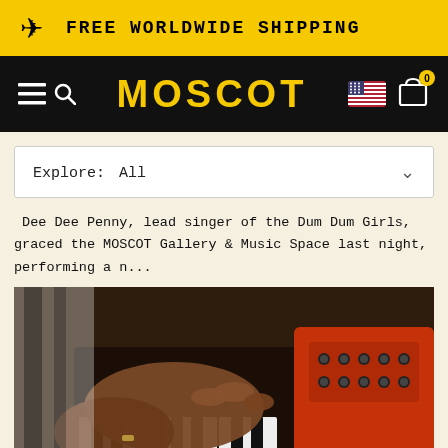FREE WORLDWIDE SHIPPING
MOSCOT
Explore: All
Dee Dee Penny, lead singer of the Dum Dum Girls, graced the MOSCOT Gallery & Music Space last night, performing a n...
[Figure (photo): Close-up photo of hands playing a keyboard/synthesizer with orange/red casing and multiple knobs and buttons]